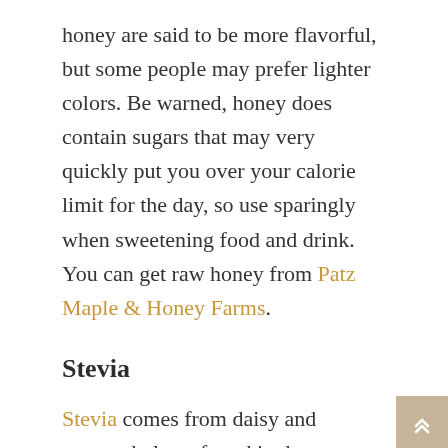honey are said to be more flavorful, but some people may prefer lighter colors. Be warned, honey does contain sugars that may very quickly put you over your calorie limit for the day, so use sparingly when sweetening food and drink. You can get raw honey from Patz Maple & Honey Farms.
Stevia
Stevia comes from daisy and ragweed plants found in the Southwest of America. It has been used for hundreds of years to sweeten foods. It is more popular today than ever before as people look to better control their blood sugar and weight. However, there are some reports that Stevia may actually negatively affect blood sugar, but research